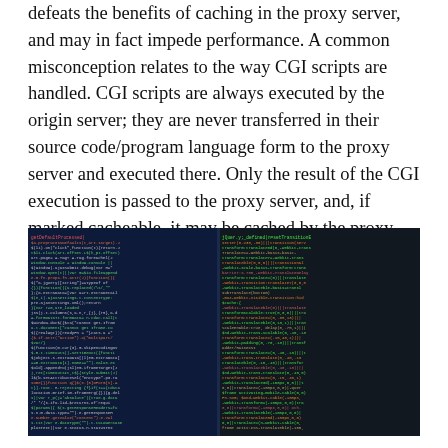defeats the benefits of caching in the proxy server, and may in fact impede performance. A common misconception relates to the way CGI scripts are handled. CGI scripts are always executed by the origin server; they are never transferred in their source code/program language form to the proxy server and executed there. Only the result of the CGI execution is passed to the proxy server, and, if marked cacheable, it may be cached by the proxy.
[Figure (photo): A photograph of a computer screen displaying colorful code — JavaScript/CSS on a dark blue background on the left panel, and multi-colored transformation/animation code on the right panel, both with dense lines of syntax-highlighted source code.]